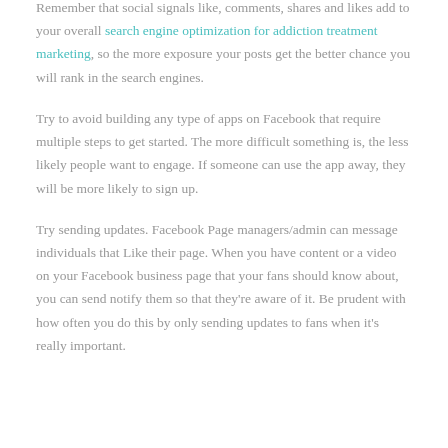Remember that social signals like, comments, shares and likes add to your overall search engine optimization for addiction treatment marketing, so the more exposure your posts get the better chance you will rank in the search engines.
Try to avoid building any type of apps on Facebook that require multiple steps to get started. The more difficult something is, the less likely people want to engage. If someone can use the app away, they will be more likely to sign up.
Try sending updates. Facebook Page managers/admin can message individuals that Like their page. When you have content or a video on your Facebook business page that your fans should know about, you can send notify them so that they're aware of it. Be prudent with how often you do this by only sending updates to fans when it's really important.